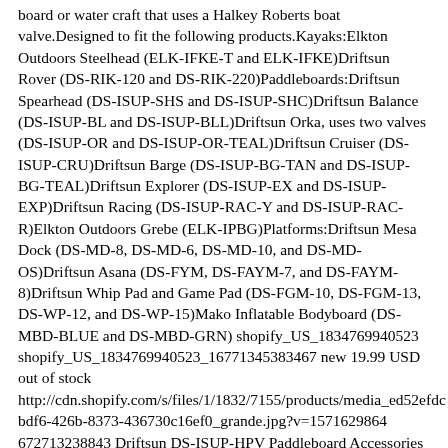board or water craft that uses a Halkey Roberts boat valve.Designed to fit the following products.Kayaks:Elkton Outdoors Steelhead (ELK-IFKE-T and ELK-IFKE)Driftsun Rover (DS-RIK-120 and DS-RIK-220)Paddleboards:Driftsun Spearhead (DS-ISUP-SHS and DS-ISUP-SHC)Driftsun Balance (DS-ISUP-BL and DS-ISUP-BLL)Driftsun Orka, uses two valves (DS-ISUP-OR and DS-ISUP-OR-TEAL)Driftsun Cruiser (DS-ISUP-CRU)Driftsun Barge (DS-ISUP-BG-TAN and DS-ISUP-BG-TEAL)Driftsun Explorer (DS-ISUP-EX and DS-ISUP-EXP)Driftsun Racing (DS-ISUP-RAC-Y and DS-ISUP-RAC-R)Elkton Outdoors Grebe (ELK-IPBG)Platforms:Driftsun Mesa Dock (DS-MD-8, DS-MD-6, DS-MD-10, and DS-MD-OS)Driftsun Asana (DS-FYM, DS-FAYM-7, and DS-FAYM-8)Driftsun Whip Pad and Game Pad (DS-FGM-10, DS-FGM-13, DS-WP-12, and DS-WP-15)Mako Inflatable Bodyboard (DS-MBD-BLUE and DS-MBD-GRN) shopify_US_1834769940523 shopify_US_1834769940523_16771345383467 new 19.99 USD out of stock http://cdn.shopify.com/s/files/1/1832/7155/products/media_ed52efdc bdf6-426b-8373-436730c16ef0_grande.jpg?v=1571629864 672713238843 Driftsun DS-ISUP-HPV Paddleboard Accessories 0.0 lb https://driftsun.com/products/zelancio-reversible-wooden-pastry-board-pastry-board-with-engraved-ruler-and-pie-board-template-f?variant=39322164232235 All In One Pastry Board. Whether you�re a professional baker or a beginner, Zelancio